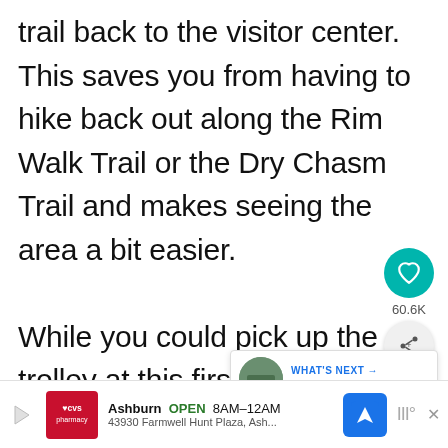trail back to the visitor center. This saves you from having to hike back out along the Rim Walk Trail or the Dry Chasm Trail and makes seeing the area a bit easier.
While you could pick up the trolley at this first spot, I recommend continuing to walk downstream along the green-blazed Rim Walk Trail. This takes you through a section of the river with dramatic...
[Figure (screenshot): Social media overlay showing heart/save button with 60.6K saves count and a share button]
[Figure (screenshot): 'WHAT'S NEXT' card overlay showing 'How to Get to Split Rock...' with thumbnail]
[Figure (screenshot): CVS Pharmacy advertisement bar at bottom: Ashburn OPEN 8AM-12AM, 43930 Farmwell Hunt Plaza, Ash...]